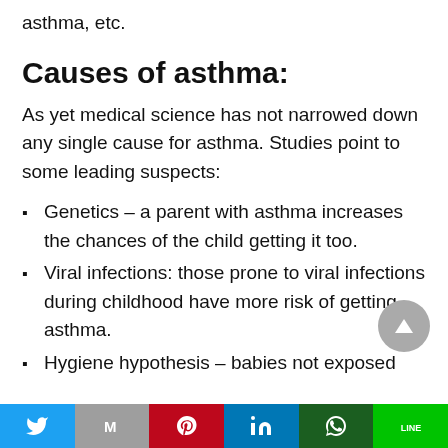asthma, etc.
Causes of asthma:
As yet medical science has not narrowed down any single cause for asthma. Studies point to some leading suspects:
Genetics – a parent with asthma increases the chances of the child getting it too.
Viral infections: those prone to viral infections during childhood have more risk of getting asthma.
Hygiene hypothesis – babies not exposed